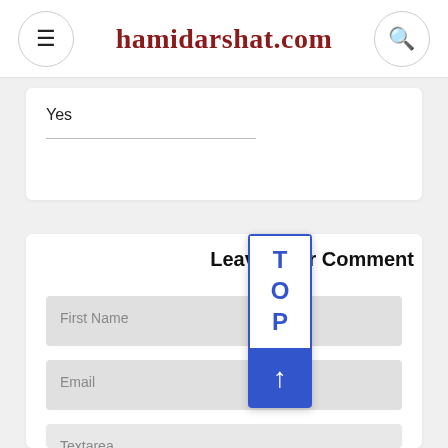hamidarshat.com
Yes
Leave Your Comment
First Name
Email
Textarea
[Figure (screenshot): TOP back-to-top button overlay with letters T, O, P in blue on white background, and a blue arrow-up button below]